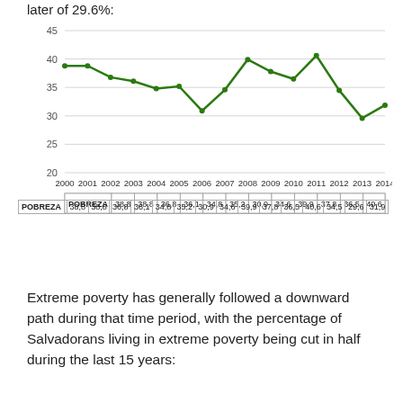later of 29.6%:
[Figure (line-chart): ]
| POBREZA | 2000 | 2001 | 2002 | 2003 | 2004 | 2005 | 2006 | 2007 | 2008 | 2009 | 2010 | 2011 | 2012 | 2013 | 2014 |
| --- | --- | --- | --- | --- | --- | --- | --- | --- | --- | --- | --- | --- | --- | --- | --- |
| 38,8 | 38,8 | 36,8 | 36,1 | 34,8 | 35,2 | 30,9 | 34,6 | 39,9 | 37,8 | 36,5 | 40,6 | 34,5 | 29,6 | 31,9 |
Extreme poverty has generally followed a downward path during that time period, with the percentage of Salvadorans living in extreme poverty being cut in half during the last 15 years: